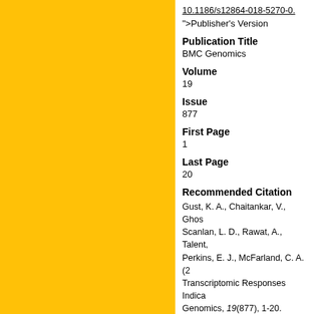10.1186/s12864-018-5270-0.
">Publisher's Version
Publication Title
BMC Genomics
Volume
19
Issue
877
First Page
1
Last Page
20
Recommended Citation
Gust, K. A., Chaitankar, V., Ghosh, Scanlan, L. D., Rawat, A., Talent, Perkins, E. J., McFarland, C. A. (2... Transcriptomic Responses Indica... Genomics, 19(877), 1-20.
Available at: https://aquila.usm.ed...